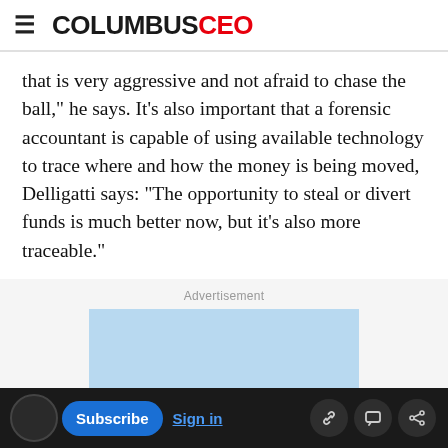COLUMBUSCEO
that is very aggressive and not afraid to chase the ball," he says. It's also important that a forensic accountant is capable of using available technology to trace where and how the money is being moved, Delligatti says: "The opportunity to steal or divert funds is much better now, but it's also more traceable."
[Figure (other): Advertisement placeholder box with light blue background]
Subscribe  Sign in